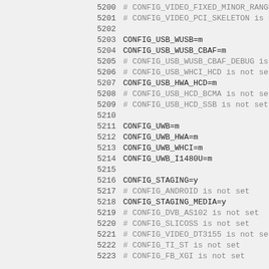5200  # CONFIG_VIDEO_FIXED_MINOR_RANGES is not set
5201  # CONFIG_VIDEO_PCI_SKELETON is not set
5202
5203  CONFIG_USB_WUSB=m
5204  CONFIG_USB_WUSB_CBAF=m
5205  # CONFIG_USB_WUSB_CBAF_DEBUG is not set
5206  # CONFIG_USB_WHCI_HCD is not set
5207  CONFIG_USB_HWA_HCD=m
5208  # CONFIG_USB_HCD_BCMA is not set
5209  # CONFIG_USB_HCD_SSB is not set
5210
5211  CONFIG_UWB=m
5212  CONFIG_UWB_HWA=m
5213  CONFIG_UWB_WHCI=m
5214  CONFIG_UWB_I1480U=m
5215
5216  CONFIG_STAGING=y
5217  # CONFIG_ANDROID is not set
5218  CONFIG_STAGING_MEDIA=y
5219  # CONFIG_DVB_AS102 is not set
5220  # CONFIG_SLICOSS is not set
5221  # CONFIG_VIDEO_DT3155 is not set
5222  # CONFIG_TI_ST is not set
5223  # CONFIG_FB_XGI is not set